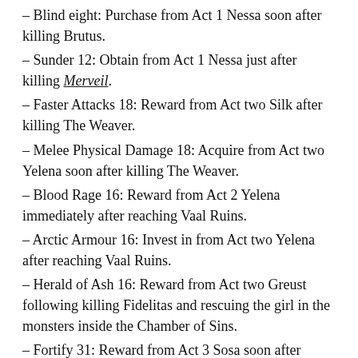– Blind eight: Purchase from Act 1 Nessa soon after killing Brutus.
– Sunder 12: Obtain from Act 1 Nessa just after killing Merveil.
– Faster Attacks 18: Reward from Act two Silk after killing The Weaver.
– Melee Physical Damage 18: Acquire from Act two Yelena soon after killing The Weaver.
– Blood Rage 16: Reward from Act 2 Yelena immediately after reaching Vaal Ruins.
– Arctic Armour 16: Invest in from Act two Yelena after reaching Vaal Ruins.
– Herald of Ash 16: Reward from Act two Greust following killing Fidelitas and rescuing the girl in the monsters inside the Chamber of Sins.
– Fortify 31: Reward from Act 3 Sosa soon after retrieving the four Golden Pages.
– Enfeeble 24: Obtain from Act 3 Clarissa right after completing Lost in Appreciate quest.